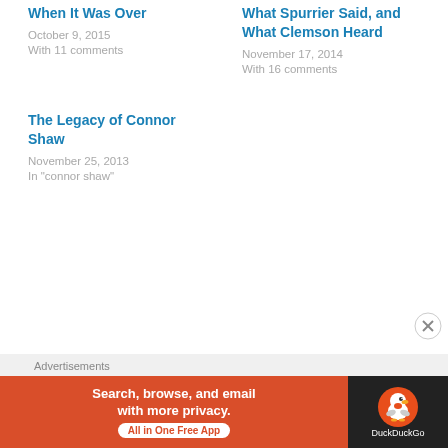When It Was Over
October 9, 2015
With 11 comments
What Spurrier Said, and What Clemson Heard
November 17, 2014
With 16 comments
The Legacy of Connor Shaw
November 25, 2013
In "connor shaw"
Advertisements
[Figure (screenshot): DuckDuckGo advertisement banner: orange left section with text 'Search, browse, and email with more privacy. All in One Free App' and dark right section with DuckDuckGo duck logo and brand name.]